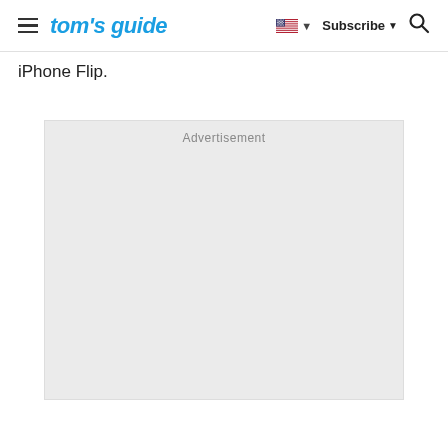tom's guide
iPhone Flip.
[Figure (other): Advertisement placeholder box with light gray background and 'Advertisement' label at top center]